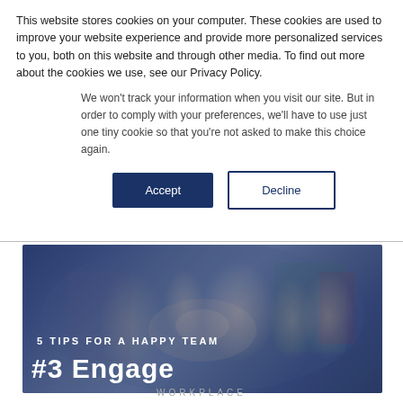This website stores cookies on your computer. These cookies are used to improve your website experience and provide more personalized services to you, both on this website and through other media. To find out more about the cookies we use, see our Privacy Policy.
We won't track your information when you visit our site. But in order to comply with your preferences, we'll have to use just one tiny cookie so that you're not asked to make this choice again.
Accept
Decline
[Figure (photo): Group of people doing a team fist bump, overlaid with text '5 TIPS FOR A HAPPY TEAM' and '#3 Engage']
WORKPLACE